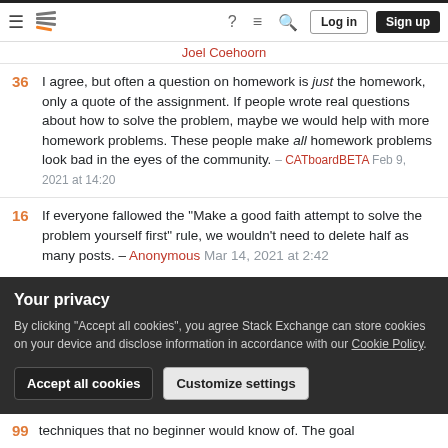Stack Exchange navigation bar with Log in and Sign up buttons
Joel Coehoorn
36 I agree, but often a question on homework is just the homework, only a quote of the assignment. If people wrote real questions about how to solve the problem, maybe we would help with more homework problems. These people make all homework problems look bad in the eyes of the community. – CATboardBETA Feb 9, 2021 at 14:20
16 If everyone fallowed the "Make a good faith attempt to solve the problem yourself first" rule, we wouldn't need to delete half as many posts. – Anonymous Mar 14, 2021 at 2:42
Your privacy
By clicking "Accept all cookies", you agree Stack Exchange can store cookies on your device and disclose information in accordance with our Cookie Policy.
techniques that no beginner would know of. The goal